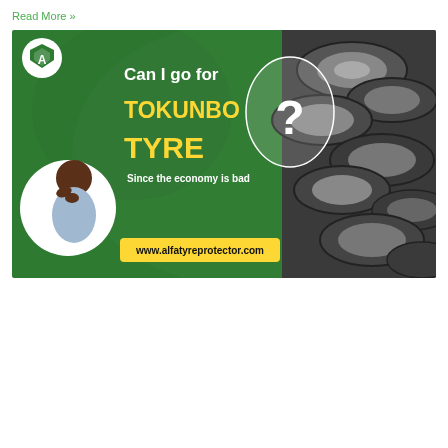Read More »
[Figure (illustration): Advertisement banner for alfatyreprotector.com featuring a green background with a man in a thinking pose, stacked used tyres on the right side, a logo in the top left, and text asking 'Can I go for TOKUNBO TYRE? Since the economy is bad' with the website URL at the bottom.]